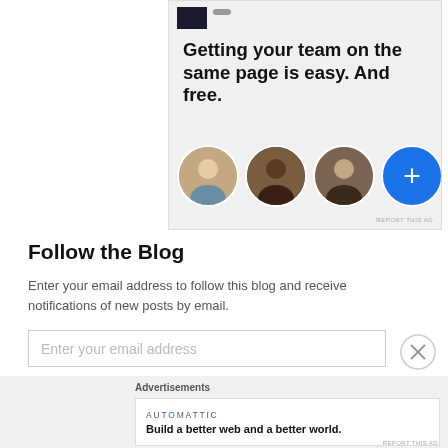[Figure (screenshot): Advertisement banner showing 'Getting your team on the same page is easy. And free.' with three circular avatar photos and a blue plus button, on a light gray background.]
Follow the Blog
Enter your email address to follow this blog and receive notifications of new posts by email.
Enter your email address
[Figure (screenshot): Automattic advertisement: 'Build a better web and a better world.' in a white box on a light gray background, with 'Advertisements' label above.]